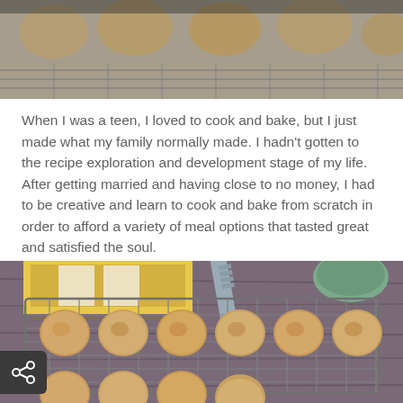[Figure (photo): Top partial photo of cookies on a wire cooling rack, cropped at top of page]
When I was a teen, I loved to cook and bake, but I just made what my family normally made. I hadn’t gotten to the recipe exploration and development stage of my life. After getting married and having close to no money, I had to be creative and learn to cook and bake from scratch in order to afford a variety of meal options that tasted great and satisfied the soul.
[Figure (photo): Bottom photo showing snickerdoodle cookies on a wire cooling rack on a wooden table with a yellow plaid kitchen towel and metal spatula, viewed from above]